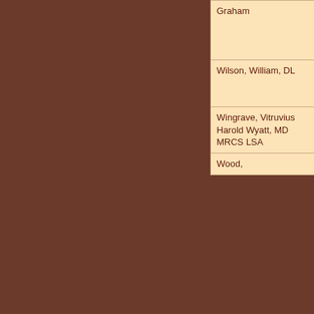| Name | Occupation | Notes |
| --- | --- | --- |
| Graham |  | joined Premier League club AFC Bournemouth in 2014, before moving to Newcastle United in 2020 for £20m. One England Under 21 cap. Full England debut in 2018. Wiki entry |
| Wilson, William, DL | Solicitor and politician | (1913-2010) Former Coventry South MP and defence lawyer. Obituary |
| Wingrave, Vitruvius Harold Wyatt, MD MRCS LSA | Research Chemist and Archaeologist | (1858-1938) Son of Joseph Wingrave, the chemist and photographer. Biography |
| Wood, | England | (b.1986) |